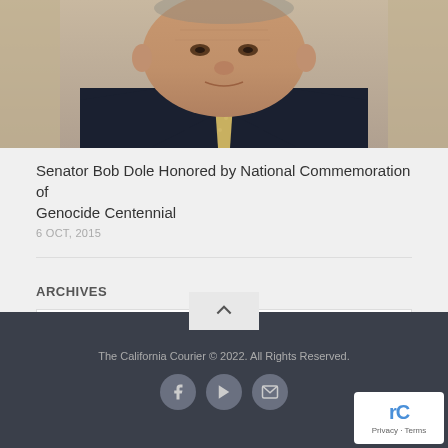[Figure (photo): Elderly man in dark suit with yellow tie, cropped photo showing face and upper body]
Senator Bob Dole Honored by National Commemoration of Genocide Centennial
6 OCT, 2015
ARCHIVES
Select Month
The California Courier © 2022. All Rights Reserved.